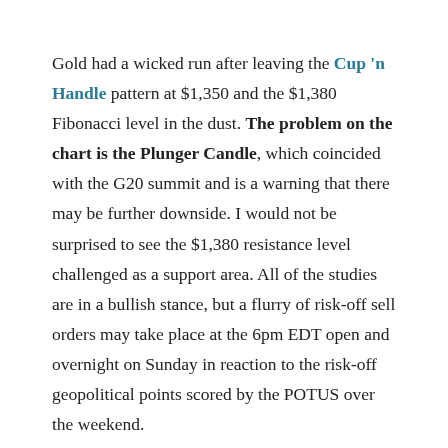Gold had a wicked run after leaving the Cup 'n Handle pattern at $1,350 and the $1,380 Fibonacci level in the dust. The problem on the chart is the Plunger Candle, which coincided with the G20 summit and is a warning that there may be further downside. I would not be surprised to see the $1,380 resistance level challenged as a support area. All of the studies are in a bullish stance, but a flurry of risk-off sell orders may take place at the 6pm EDT open and overnight on Sunday in reaction to the risk-off geopolitical points scored by the POTUS over the weekend.
As a reminder, nobody cares about silver until it breaches $21.50 with conviction.